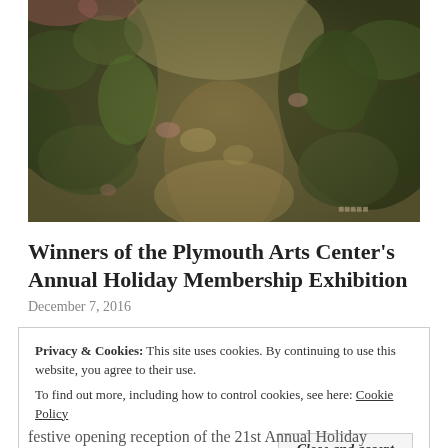[Figure (photo): An impressionist-style painting of a garden path with dense, dark foliage in muted greens and earth tones, with dappled light. A signature is visible in the lower right corner.]
Winners of the Plymouth Arts Center's Annual Holiday Membership Exhibition
December 7, 2016
Privacy & Cookies:  This site uses cookies. By continuing to use this website, you agree to their use.
To find out more, including how to control cookies, see here: Cookie Policy
Close and accept
festive opening reception of the 21st Annual Holiday